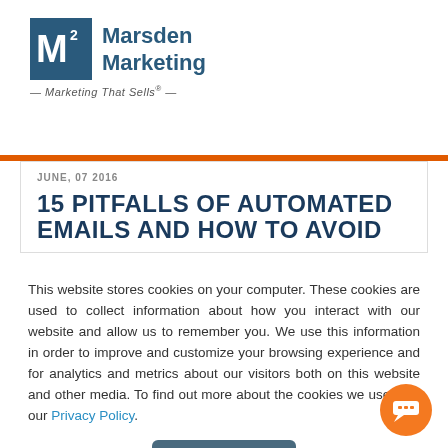[Figure (logo): Marsden Marketing logo with M2 icon and tagline 'Marketing That Sells']
JUNE, 07 2016
15 PITFALLS OF AUTOMATED EMAILS AND HOW TO AVOID
This website stores cookies on your computer. These cookies are used to collect information about how you interact with our website and allow us to remember you. We use this information in order to improve and customize your browsing experience and for analytics and metrics about our visitors both on this website and other media. To find out more about the cookies we use, see our Privacy Policy.
Accept